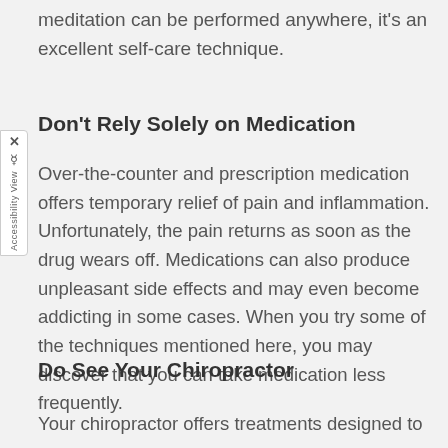meditation can be performed anywhere, it's an excellent self-care technique.
Don't Rely Solely on Medication
Over-the-counter and prescription medication offers temporary relief of pain and inflammation. Unfortunately, the pain returns as soon as the drug wears off. Medications can also produce unpleasant side effects and may even become addicting in some cases. When you try some of the techniques mentioned here, you may discover that you can take medication less frequently.
Do See Your Chiropractor
Your chiropractor offers treatments designed to